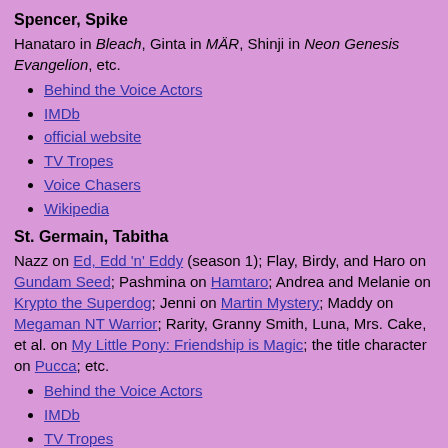Spencer, Spike
Hanataro in Bleach, Ginta in MÄR, Shinji in Neon Genesis Evangelion, etc.
Behind the Voice Actors
IMDb
official website
TV Tropes
Voice Chasers
Wikipedia
St. Germain, Tabitha
Nazz on Ed, Edd 'n' Eddy (season 1); Flay, Birdy, and Haro on Gundam Seed; Pashmina on Hamtaro; Andrea and Melanie on Krypto the Superdog; Jenni on Martin Mystery; Maddy on Megaman NT Warrior; Rarity, Granny Smith, Luna, Mrs. Cake, et al. on My Little Pony: Friendship is Magic; the title character on Pucca; etc.
Behind the Voice Actors
IMDb
TV Tropes
Voice Chasers
Wikipedia